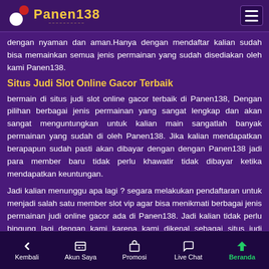Panen138
dengan nyaman dan aman.Hanya dengan mendaftar kalian sudah bisa memainkan semua jenis permainan yang sudah disediakan oleh kami Panen138.
Situs Judi Slot Online Gacor Terbaik
bermain di situs judi slot online gacor terbaik di Panen138, Dengan pilihan berbagai jenis permainan yang sangat lengkap dan akan sangat menguntungkan untuk kalian main sangatlah banyak permainan yang sudah di oleh Panen138. Jika kalian mendapatkan berapapun sudah pasti akan dibayar dengan dengan Panen138 jadi para member baru tidak perlu khawatir tidak dibayar ketika mendapatkan keuntungan.
Jadi kalian menunggu apa lagi ? segara melakukan pendaftaran untuk menjadi salah satu member slot vip agar bisa menikmati berbagai jenis permainan judi online gacor ada di Panen138. Jadi kalian tidak perlu bingung lagi dengan kami karena kami dikenal sebagai situs judi online
Kembali  Akun Saya  Promosi  Live Chat  Beranda